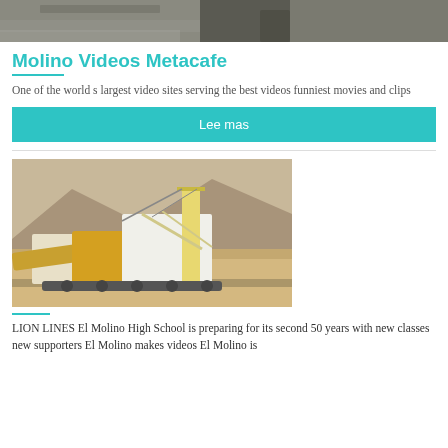[Figure (photo): Top partial image of industrial/mining site with grey dusty ground]
Molino Videos Metacafe
One of the world s largest video sites serving the best videos funniest movies and clips
Lee mas
[Figure (photo): Large yellow and white mining machinery/conveyor in an open pit mine with mountains in background]
LION LINES El Molino High School is preparing for its second 50 years with new classes new supporters El Molino makes videos El Molino is